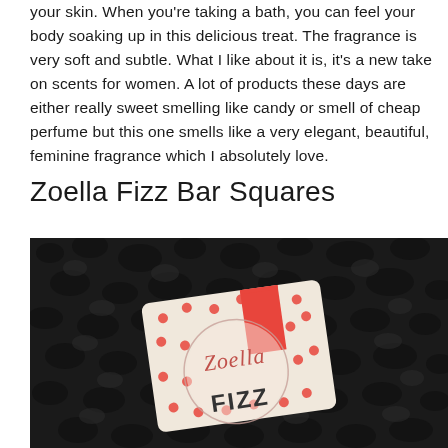your skin. When you're taking a bath, you can feel your body soaking up in this delicious treat. The fragrance is very soft and subtle. What I like about it is, it's a new take on scents for women. A lot of products these days are either really sweet smelling like candy or smell of cheap perfume but this one smells like a very elegant, beautiful, feminine fragrance which I absolutely love.
Zoella Fizz Bar Squares
[Figure (photo): Photo of a Zoella Fizz Bar soap product in cream-colored packaging with red polka dots and a red stripe, showing the Zoella logo in a circle, placed on a dark textured surface.]